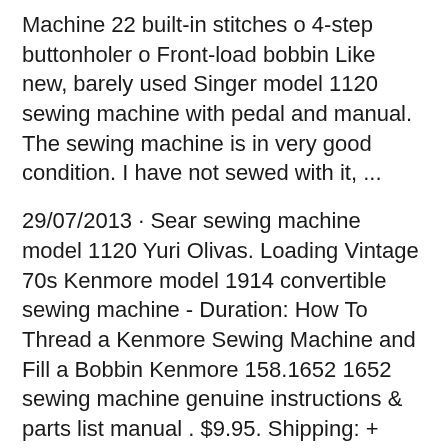Machine 22 built-in stitches o 4-step buttonholer o Front-load bobbin Like new, barely used Singer model 1120 sewing machine with pedal and manual. The sewing machine is in very good condition. I have not sewed with it, ...
29/07/2013 · Sear sewing machine model 1120 Yuri Olivas. Loading Vintage 70s Kenmore model 1914 convertible sewing machine - Duration: How To Thread a Kenmore Sewing Machine and Fill a Bobbin Kenmore 158.1652 1652 sewing machine genuine instructions & parts list manual . $9.95. Shipping: + $6.95 Shipping . ANTIQUE/VINTAGE JONES HAND CRANK SEWING MACHINE CIRCA 1892-93.**RARE For Auction Today Vintage Sears Kenmore Sewing Machine Model 1120 w/ Foot Pedal. Vintage.